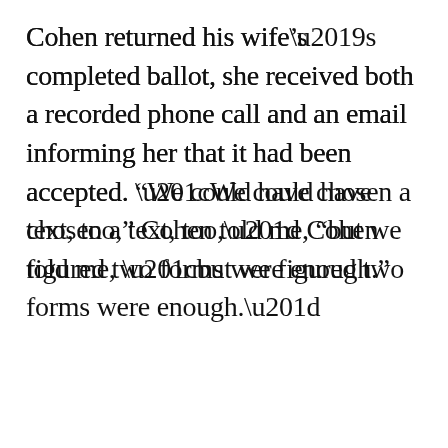Cohen returned his wife’s completed ballot, she received both a recorded phone call and an email informing her that it had been accepted. “We could have chosen a text, too,” Cohen told me, “but we figured two forms were enough.”
This is your last free article.